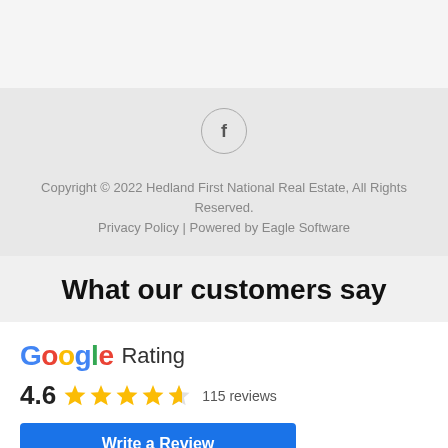[Figure (logo): Facebook icon in a circle]
Copyright © 2022 Hedland First National Real Estate, All Rights Reserved.
Privacy Policy | Powered by Eagle Software
What our customers say
[Figure (infographic): Google Rating: 4.6 stars, 115 reviews, with 5 gold stars (last one half-filled). Write a Review button below.]